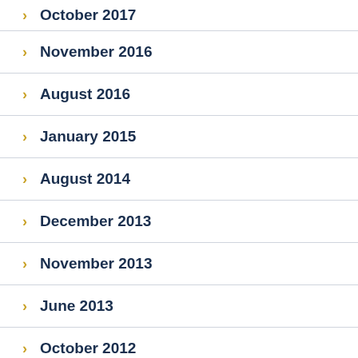October 2017
November 2016
August 2016
January 2015
August 2014
December 2013
November 2013
June 2013
October 2012
September 2012